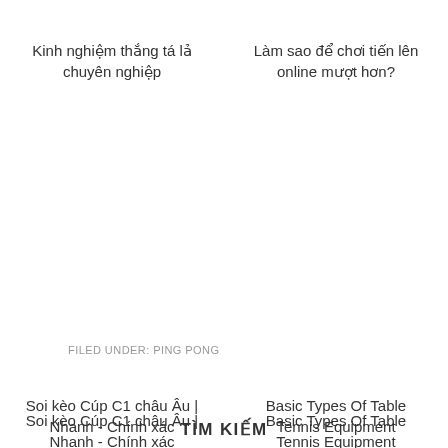Kinh nghiệm thắng tá lả chuyên nghiệp
Làm sao để chơi tiến lên online mượt hơn?
Soi kèo Cúp C1 châu Âu | Nhanh - Chính xác
Basic Types Of Table Tennis Equipment
FILED UNDER: PING PONG
TÌM KIẾM